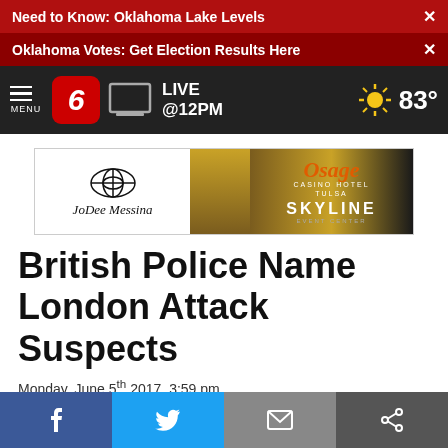Need to Know: Oklahoma Lake Levels
Oklahoma Votes: Get Election Results Here
MENU  6  LIVE @12PM  83°
[Figure (photo): JoDee Messina advertisement for Osage Casino Hotel Tulsa and Skyline Event Center]
British Police Name London Attack Suspects
Monday, June 5th 2017, 3:59 pm
By: News On 6
f  (Twitter bird)  (envelope)  (link icon)